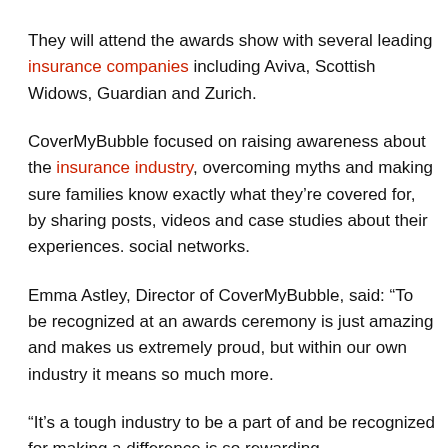They will attend the awards show with several leading insurance companies including Aviva, Scottish Widows, Guardian and Zurich.
CoverMyBubble focused on raising awareness about the insurance industry, overcoming myths and making sure families know exactly what they're covered for, by sharing posts, videos and case studies about their experiences. social networks.
Emma Astley, Director of CoverMyBubble, said: “To be recognized at an awards ceremony is just amazing and makes us extremely proud, but within our own industry it means so much more.
“It’s a tough industry to be a part of and be recognized for making a difference is so rewarding.
“It makes me incredibly proud of what we have accomplished